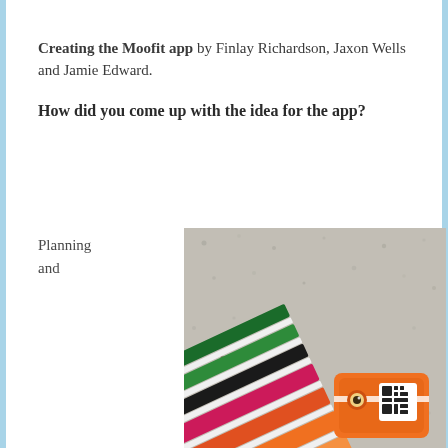Creating the Moofit app by Finlay Richardson, Jaxon Wells and Jamie Edward.
How did you come up with the idea for the app?
Planning and
[Figure (photo): A photo of a colorful Moofit fan of paint/color swatches laid on a concrete surface. The swatches fan out showing stripes of dark green, white, medium green, black, deep pink/magenta, orange-red, orange, and light orange. At the bottom right is an orange card holder with a QR code and an eye/camera icon.]